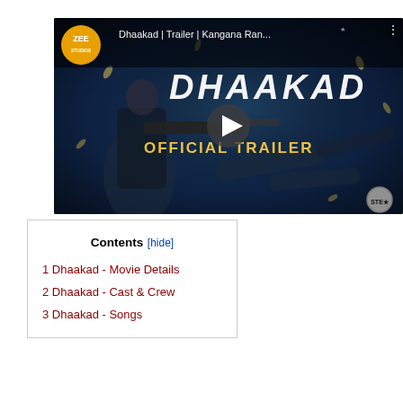[Figure (screenshot): YouTube video thumbnail for 'Dhaakad | Trailer | Kangana Ran...' from Zee Studios. Shows a woman in black tactical gear holding a large gun against a dark background with bullets and rockets. Title 'DHAAKAD' in large white letters, 'OFFICIAL TRAILER' in gold. Play button in center.]
| Contents [hide] |
| 1 Dhaakad - Movie Details |
| 2 Dhaakad - Cast & Crew |
| 3 Dhaakad - Songs |